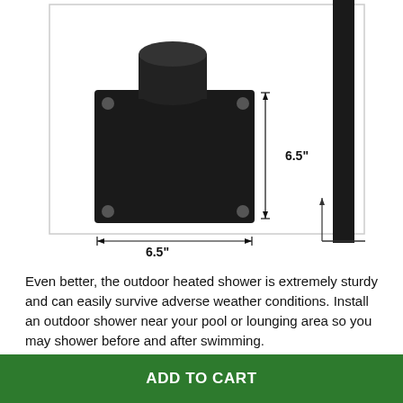[Figure (photo): Product photo showing a black square mounting base/flange with a cylindrical post, with dimension annotations showing 6.5 inches on two sides. On the right side, a black vertical pole/post is partially visible with a measurement bracket.]
Even better, the outdoor heated shower is extremely sturdy and can easily survive adverse weather conditions. Install an outdoor shower near your pool or lounging area so you may shower before and after swimming.
FEATURES:
LARGE STORAGE: The solar shower can easily hold up
ADD TO CART